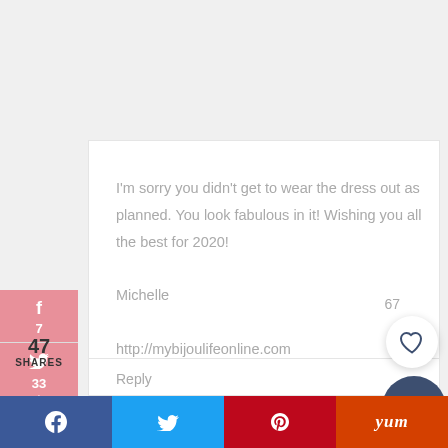I'm sorry you didn't get to wear the dress out as planned. You look fabulous in it! Wishing you all the best for 2020!
Michelle
http://mybijoulifeonline.com
Reply
47
SHARES
67